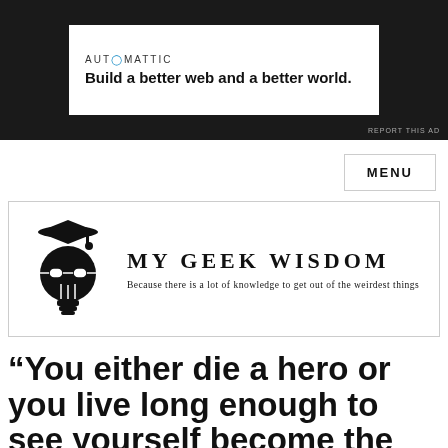[Figure (logo): Automattic advertisement banner with white box on dark background. Text: AUTOMATTIC, Build a better web and a better world. REPORT THIS AD in corner.]
MENU
[Figure (logo): My Geek Wisdom logo: lightbulb with graduation cap and glasses icon, site title MY GEEK WISDOM, tagline Because there is a lot of knowledge to get out of the weirdest things]
“You either die a hero or you live long enough to see yourself become the